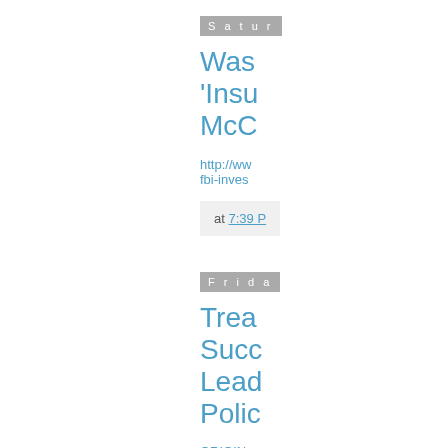Satur
Was 'Insu McC
http://ww fbi-inves
at 7:39 P
Frida
Trea Succ Lead Polic
ORIGIN